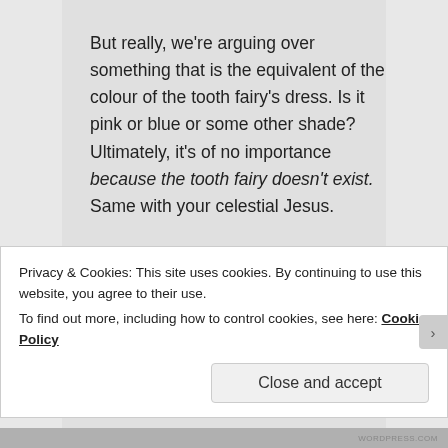But really, we're arguing over something that is the equivalent of the colour of the tooth fairy's dress. Is it pink or blue or some other shade? Ultimately, it's of no importance because the tooth fairy doesn't exist. Same with your celestial Jesus.
★ Like
Privacy & Cookies: This site uses cookies. By continuing to use this website, you agree to their use.
To find out more, including how to control cookies, see here: Cookie Policy
Close and accept
WORDPRESS.COM